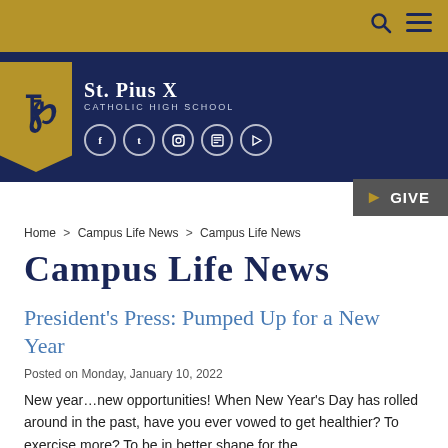St. Pius X Catholic High School
Home > Campus Life News > Campus Life News
Campus Life News
President's Press: Pumped Up for a New Year
Posted on Monday, January 10, 2022
New year…new opportunities! When New Year's Day has rolled around in the past, have you ever vowed to get healthier? To exercise more? To be in better shape for the